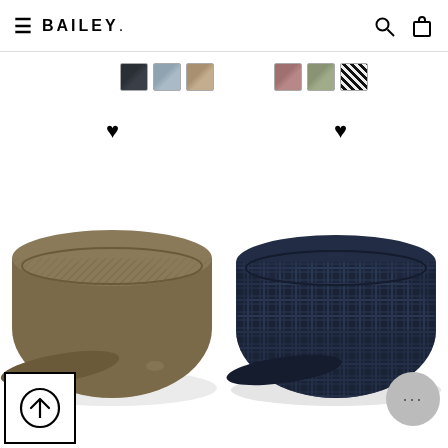BAILEY.
[Figure (other): Color swatch options row showing fabric texture swatches: dark navy, light blue, brown tweed on left group; rose/mauve, sage/olive, black-white houndstooth on right group]
[Figure (other): Two flat cap hats: left is a brown/olive herringbone tweed flat cap, right is a dark navy plaid/glen check flat cap]
[Figure (other): Back-to-top button with upward arrow icon in bottom left corner]
[Figure (other): Chat button (gray circle with ellipsis) in bottom right area]